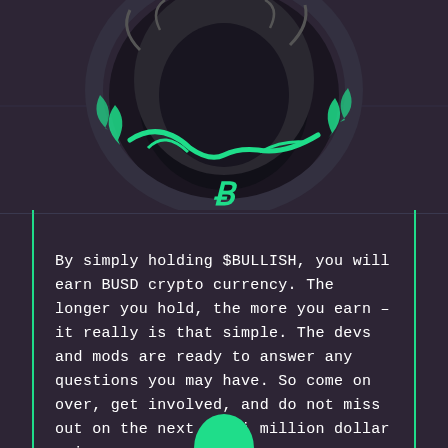[Figure (illustration): Crypto bull character illustration with dark/monochrome style, green ornamental chain and Bitcoin symbol pendant, dark background with subtle grid lines]
By simply holding $BULLISH, you will earn BUSD crypto currency. The longer you hold, the more you earn – it really is that simple. The devs and mods are ready to answer any questions you may have. So come on over, get involved, and do not miss out on the next multi million dollar coin.